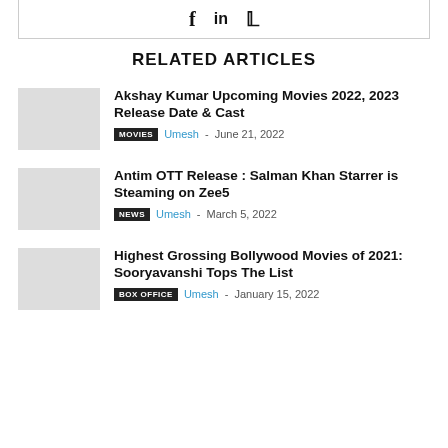[Figure (other): Social share icons: Facebook (f), LinkedIn (in), Twitter (bird icon) in a bordered box]
RELATED ARTICLES
Akshay Kumar Upcoming Movies 2022, 2023 Release Date & Cast
MOVIES  Umesh - June 21, 2022
Antim OTT Release : Salman Khan Starrer is Steaming on Zee5
NEWS  Umesh - March 5, 2022
Highest Grossing Bollywood Movies of 2021: Sooryavanshi Tops The List
BOX OFFICE  Umesh - January 15, 2022